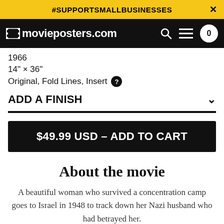#SUPPORTSMALIBUSINESSES
movieposters.com
1966
14" × 36"
Original, Fold Lines, Insert
ADD A FINISH
$49.99 USD – ADD TO CART
About the movie
A beautiful woman who survived a concentration camp goes to Israel in 1948 to track down her Nazi husband who had betrayed her.